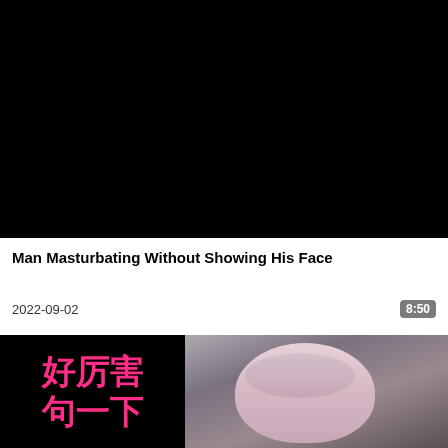[Figure (photo): Black video thumbnail placeholder]
Man Masturbating Without Showing His Face
2022-09-02
8:50
[Figure (photo): Split thumbnail: left side black background with pink Chinese characters '好厉害 句一下', right side anime girl with short silver hair and purple eyes]